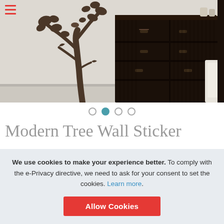[Figure (photo): Room photo showing a dark wood dresser/chest of drawers and a wall with a brown tree wall sticker decal, with white bedding visible on the right edge]
Modern Tree Wall Sticker
We use cookies to make your experience better. To comply with the e-Privacy directive, we need to ask for your consent to set the cookies. Learn more.
Allow Cookies